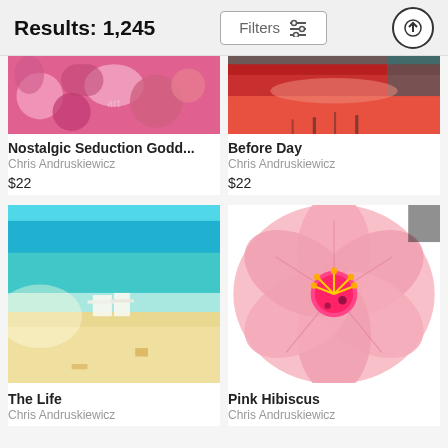Results: 1,245
Filters
[Figure (photo): Cropped top portion of a pink floral patterned artwork - Nostalgic Seduction Godd...]
Nostalgic Seduction Godd...
Chris Andruskiewicz
$22
[Figure (photo): Cropped top portion of a red/pink abstract art piece - Before Day]
Before Day
Chris Andruskiewicz
$22
[Figure (photo): Beach scene with white Adirondack chairs on sandy beach, turquoise water, vintage filter - The Life]
The Life
Chris Andruskiewicz
[Figure (photo): Close-up macro photo of a pink hibiscus flower with pink stamens - Pink Hibiscus]
Pink Hibiscus
Chris Andruskiewicz